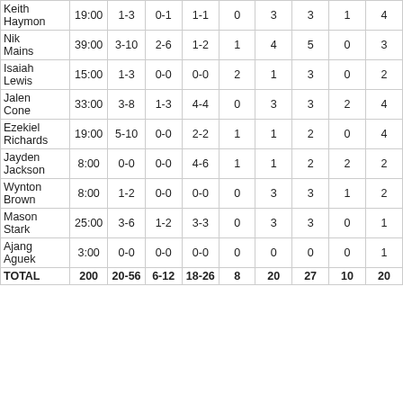| Player | MIN | FG | 3PT | FT | OR | DR | TR | AS | PTS |
| --- | --- | --- | --- | --- | --- | --- | --- | --- | --- |
| Keith Haymon | 19:00 | 1-3 | 0-1 | 1-1 | 0 | 3 | 3 | 1 | 4 |
| Nik Mains | 39:00 | 3-10 | 2-6 | 1-2 | 1 | 4 | 5 | 0 | 3 |
| Isaiah Lewis | 15:00 | 1-3 | 0-0 | 0-0 | 2 | 1 | 3 | 0 | 2 |
| Jalen Cone | 33:00 | 3-8 | 1-3 | 4-4 | 0 | 3 | 3 | 2 | 4 |
| Ezekiel Richards | 19:00 | 5-10 | 0-0 | 2-2 | 1 | 1 | 2 | 0 | 4 |
| Jayden Jackson | 8:00 | 0-0 | 0-0 | 4-6 | 1 | 1 | 2 | 2 | 2 |
| Wynton Brown | 8:00 | 1-2 | 0-0 | 0-0 | 0 | 3 | 3 | 1 | 2 |
| Mason Stark | 25:00 | 3-6 | 1-2 | 3-3 | 0 | 3 | 3 | 0 | 1 |
| Ajang Aguek | 3:00 | 0-0 | 0-0 | 0-0 | 0 | 0 | 0 | 0 | 1 |
| TOTAL | 200 | 20-56 | 6-12 | 18-26 | 8 | 20 | 27 | 10 | 20 |